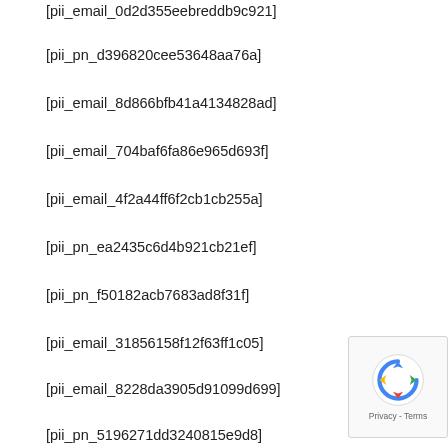[pii_email_0d2d355eebreddb9c921]
[pii_pn_d396820cee53648aa76a]
[pii_email_8d866bfb41a4134828ad]
[pii_email_704baf6fa86e965d693f]
[pii_email_4f2a44ff6f2cb1cb255a]
[pii_pn_ea2435c6d4b921cb21ef]
[pii_pn_f50182acb7683ad8f31f]
[pii_email_31856158f12f63ff1c05]
[pii_email_8228da3905d91099d699]
[pii_pn_5196271dd3240815e9d8]